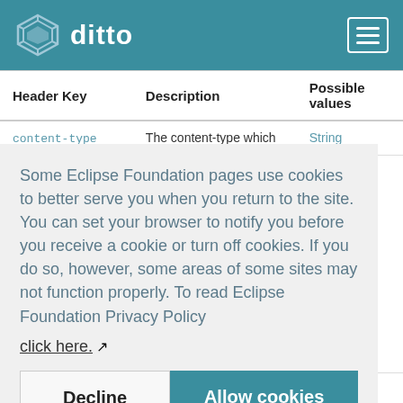[Figure (logo): Ditto logo with teal background, showing a stylized cube icon and the word 'ditto' in white, plus a hamburger menu icon in the top right]
| Header Key | Description | Possible values |
| --- | --- | --- |
| content-type | The content-type which | String |
| if-match | Has the same semantics | String |
Some Eclipse Foundation pages use cookies to better serve you when you return to the site. You can set your browser to notify you before you receive a cookie or turn off cookies. If you do so, however, some areas of some sites may not function properly. To read Eclipse Foundation Privacy Policy click here.